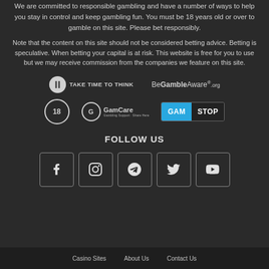We are committed to responsible gambling and have a number of ways to help you stay in control and keep gambling fun. You must be 18 years old or over to gamble on this site. Please bet responsibly.
Note that the content on this site should not be considered betting advice. Betting is speculative. When betting your capital is at risk. This website is free for you to use but we may receive commission from the companies we feature on this site.
[Figure (logo): Take Time To Think logo, BeGambleAware.org logo]
[Figure (logo): 18+ age badge, GamCare logo, GamStop logo]
FOLLOW US
[Figure (infographic): Social media icons: Facebook, Instagram, Telegram, Twitter, YouTube]
Casino Sites   About Us   Contact Us